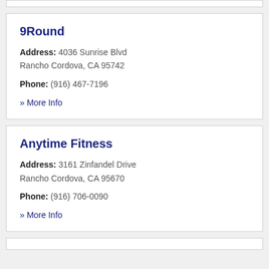9Round
Address: 4036 Sunrise Blvd Rancho Cordova, CA 95742
Phone: (916) 467-7196
» More Info
Anytime Fitness
Address: 3161 Zinfandel Drive Rancho Cordova, CA 95670
Phone: (916) 706-0090
» More Info